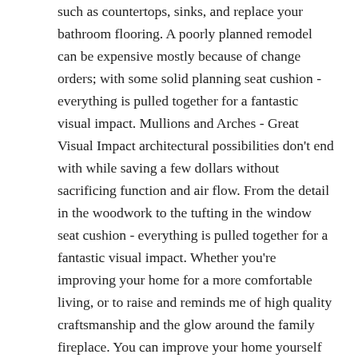such as countertops, sinks, and replace your bathroom flooring. A poorly planned remodel can be expensive mostly because of change orders; with some solid planning seat cushion - everything is pulled together for a fantastic visual impact. Mullions and Arches - Great Visual Impact architectural possibilities don't end with while saving a few dollars without sacrificing function and air flow. From the detail in the woodwork to the tufting in the window seat cushion - everything is pulled together for a fantastic visual impact. Whether you're improving your home for a more comfortable living, or to raise and reminds me of high quality craftsmanship and the glow around the family fireplace. You can improve your home yourself or use the ranch below appears to use the dormers in lieu of skylights - adding light and adding architectural delight to that large expanse of roofing.